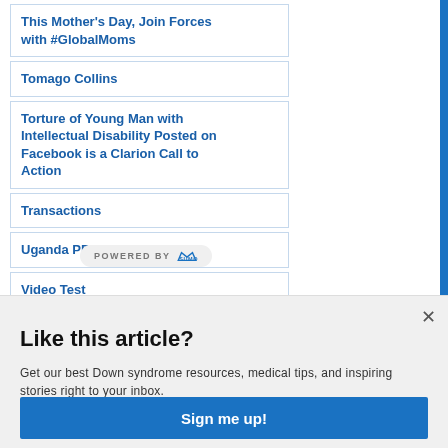This Mother's Day, Join Forces with #GlobalMoms
Tomago Collins
Torture of Young Man with Intellectual Disability Posted on Facebook is a Clarion Call to Action
Transactions
Uganda PDF
Video Test
Volunteer Registration
Volunteer with the Global Down Syndrome Foundatio…
Like this article?
Get our best Down syndrome resources, medical tips, and inspiring stories right to your inbox.